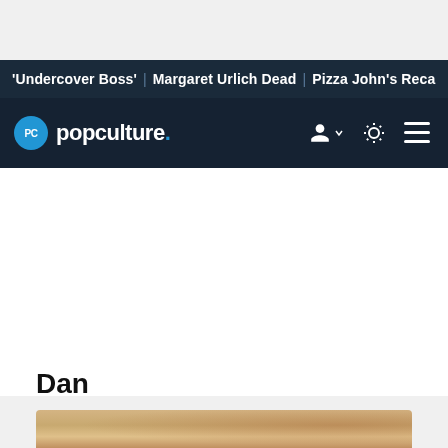'Undercover Boss' | Margaret Urlich Dead | Pizza John's Reca
[Figure (logo): PopCulture.com logo with navigation icons (user account, dark/light mode toggle, hamburger menu)]
Dan
[Figure (photo): Partial view of what appears to be a worn/aged paper or cardboard texture image]